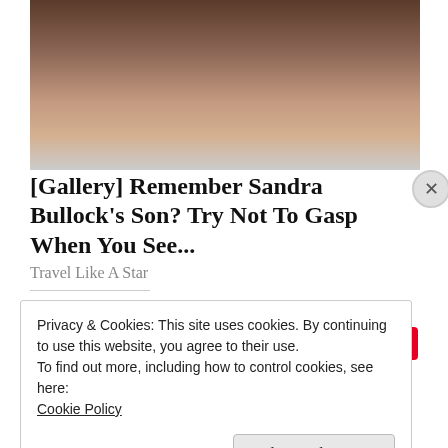[Figure (photo): Close-up photo of two people, a man and a woman, faces visible from the nose down, cropped at the top of the page.]
[Gallery] Remember Sandra Bullock's Son? Try Not To Gasp When You See...
Travel Like A Star
Like this?
Loading...
Privacy & Cookies: This site uses cookies. By continuing to use this website, you agree to their use.
To find out more, including how to control cookies, see here:
Cookie Policy
Close and accept